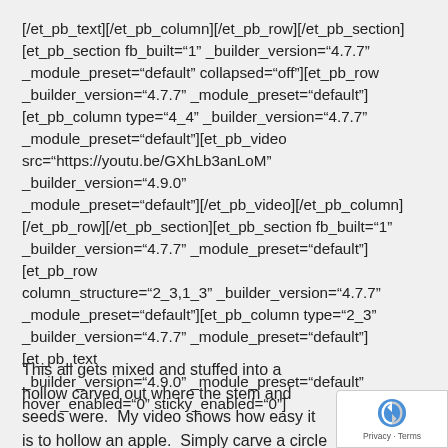[/et_pb_text][/et_pb_column][/et_pb_row][/et_pb_section][et_pb_section fb_built="1" _builder_version="4.7.7" _module_preset="default" collapsed="off"][et_pb_row _builder_version="4.7.7" _module_preset="default"][et_pb_column type="4_4" _builder_version="4.7.7" _module_preset="default"][et_pb_video src="https://youtu.be/GXhLb3anLoM" _builder_version="4.9.0" _module_preset="default"][/et_pb_video][/et_pb_column][/et_pb_row][/et_pb_section][et_pb_section fb_built="1" _builder_version="4.7.7" _module_preset="default"][et_pb_row column_structure="2_3,1_3" _builder_version="4.7.7" _module_preset="default"][et_pb_column type="2_3" _builder_version="4.7.7" _module_preset="default"][et_pb_text _builder_version="4.9.0" _module_preset="default" hover_enabled="0" sticky_enabled="0"]
This all gets mixed and stuffed into a hollow carved out where the stem and seeds were.  My video shows how easy it is to hollow an apple.  Simply carve a circle around the stem using a